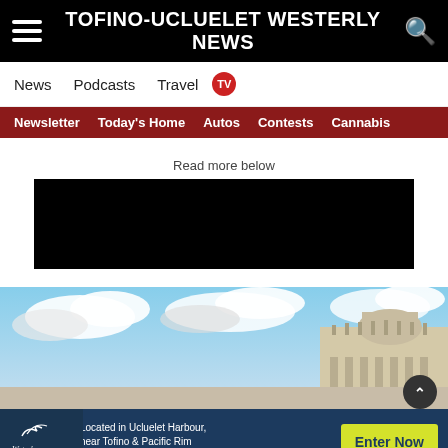TOFINO-UCLUELET WESTERLY NEWS
News   Podcasts   Travel   TV
Newsletter   Today's Home   Autos   Contests   Cannabis
Read more below
[Figure (other): Black advertisement placeholder box]
[Figure (photo): Photograph of St. Peter's Basilica at the Vatican with blue sky and clouds]
[Figure (other): Water's Edge advertisement banner: 'Located in Ucluelet Harbour, near Tofino & Pacific Rim National Park Reserve' with Enter Now button]